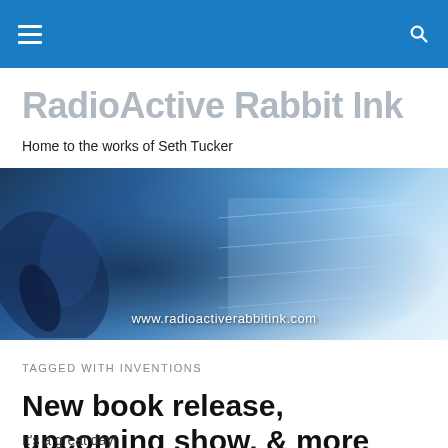RadioActive Rabbit Ink — navigation bar
RadioActive Rabbit Ink
Home to the works of Seth Tucker
[Figure (photo): Banner image with blue-tinted technology/keyboard background and text 'www.radioactiverabbitink.com']
TAGGED WITH INVENTIONS
New book release, upcoming show, & more
It's a great day!